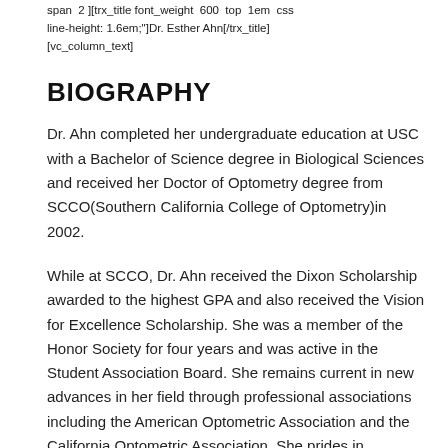span  2 ][trx_title font_weight  600  top  1em  css line-height: 1.6em;"]Dr. Esther Ahn[/trx_title] [vc_column_text]
BIOGRAPHY
Dr. Ahn completed her undergraduate education at USC with a Bachelor of Science degree in Biological Sciences and received her Doctor of Optometry degree from SCCO(Southern California College of Optometry)in 2002.
While at SCCO, Dr. Ahn received the Dixon Scholarship awarded to the highest GPA and also received the Vision for Excellence Scholarship. She was a member of the Honor Society for four years and was active in the Student Association Board. She remains current in new advances in her field through professional associations including the American Optometric Association and the California Optometric Association. She prides in providing personalized, comprehensive